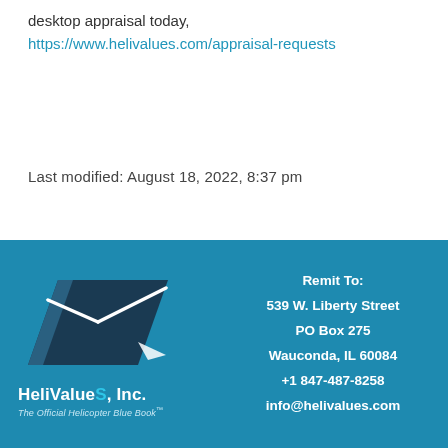desktop appraisal today,
https://www.helivalues.com/appraisal-requests
Last modified: August 18, 2022, 8:37 pm
[Figure (logo): HeliValueS, Inc. logo with helicopter silhouette and text 'The Official Helicopter Blue Book']
Remit To:
539 W. Liberty Street
PO Box 275
Wauconda, IL 60084
+1 847-487-8258
info@helivalues.com